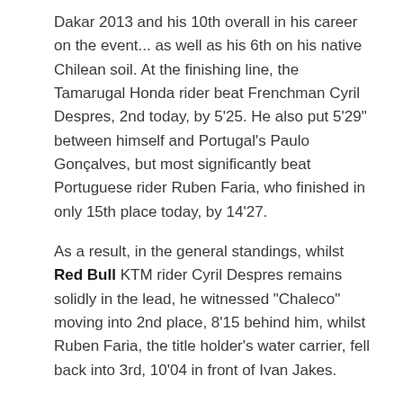Dakar 2013 and his 10th overall in his career on the event... as well as his 6th on his native Chilean soil. At the finishing line, the Tamarugal Honda rider beat Frenchman Cyril Despres, 2nd today, by 5'25. He also put 5'29" between himself and Portugal's Paulo Gonçalves, but most significantly beat Portuguese rider Ruben Faria, who finished in only 15th place today, by 14'27.
As a result, in the general standings, whilst Red Bull KTM rider Cyril Despres remains solidly in the lead, he witnessed "Chaleco" moving into 2nd place, 8'15 behind him, whilst Ruben Faria, the title holder's water carrier, fell back into 3rd, 10'04 in front of Ivan Jakes.
In the quad category, although he opened the way today, Sebastian Husseini took advantage of being on his favourite terrain, namely wide open spaces, to put in the best time on the first section of the